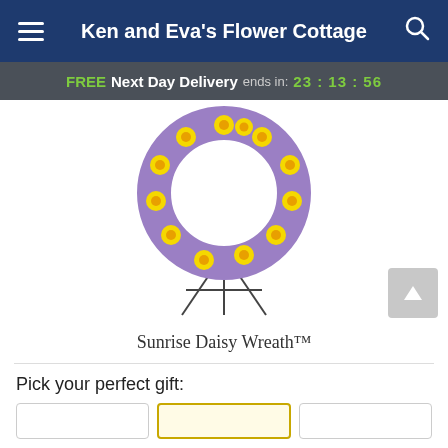Ken and Eva's Flower Cottage
FREE Next Day Delivery ends in: 23:13:56
[Figure (photo): A circular floral wreath made of yellow daisy flowers and purple/lavender blooms, displayed on a metal easel stand. Product photo on white background.]
Sunrise Daisy Wreath™
Pick your perfect gift: